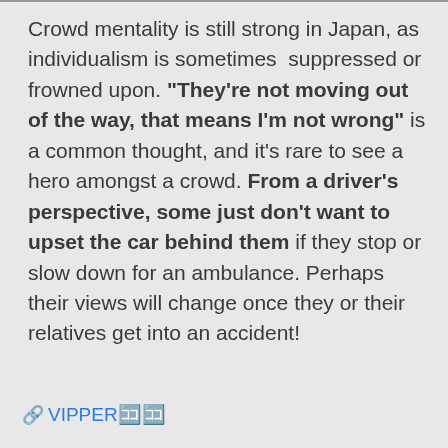Crowd mentality is still strong in Japan, as individualism is sometimes  suppressed or frowned upon. "They're not moving out of the way, that means I'm not wrong" is a common thought, and it's rare to see a hero amongst a crowd. From a driver's perspective, some just don't want to upset the car behind them if they stop or slow down for an ambulance. Perhaps their views will change once they or their relatives get into an accident!
VIPPER🔗